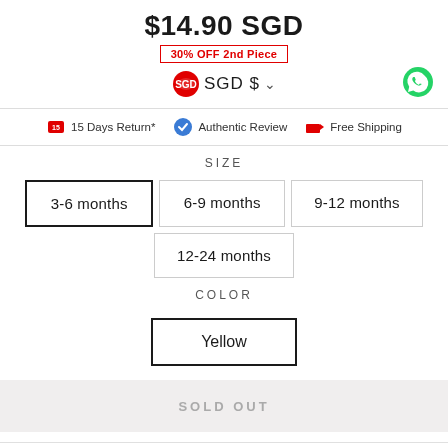$14.90 SGD
30% OFF 2nd Piece
SGD $
15 Days Return*   Authentic Review   Free Shipping
SIZE
3-6 months (selected)
6-9 months
9-12 months
12-24 months
COLOR
Yellow (selected)
SOLD OUT
Shop Vouchers
$10 OFF   15% OFF